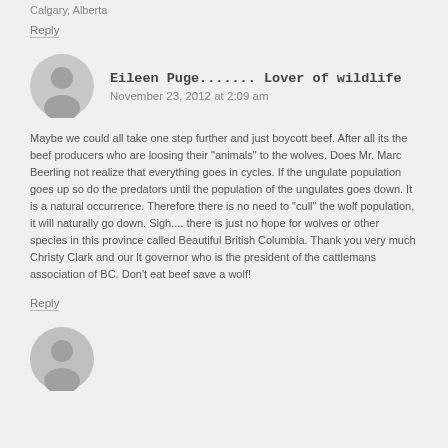Calgary, Alberta
Reply
Eileen Puge....... Lover of wildlife
November 23, 2012 at 2:09 am
Maybe we could all take one step further and just boycott beef. After all its the beef producers who are loosing their "animals" to the wolves. Does Mr. Marc Beerling not realize that everything goes in cycles. If the ungulate population goes up so do the predators until the population of the ungulates goes down. It is a natural occurrence. Therefore there is no need to "cull" the wolf population, it will naturally go down. Sigh.... there is just no hope for wolves or other species in this province called Beautiful British Columbia. Thank you very much Christy Clark and our lt governor who is the president of the cattlemans association of BC. Don't eat beef save a wolf!
Reply